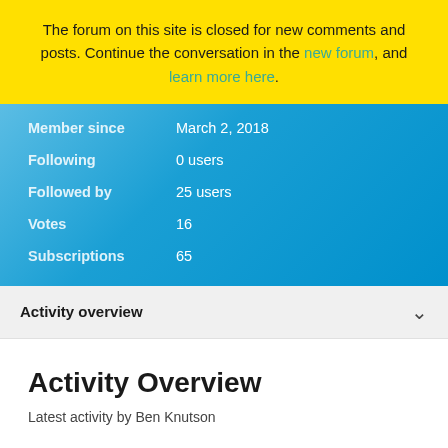The forum on this site is closed for new comments and posts. Continue the conversation in the new forum, and learn more here.
| Label | Value |
| --- | --- |
| Member since | March 2, 2018 |
| Following | 0 users |
| Followed by | 25 users |
| Votes | 16 |
| Subscriptions | 65 |
Activity overview
Activity Overview
Latest activity by Ben Knutson